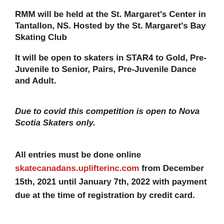RMM will be held at the St. Margaret's Center in Tantallon, NS. Hosted by the St. Margaret's Bay Skating Club
It will be open to skaters in STAR4 to Gold, Pre-Juvenile to Senior, Pairs, Pre-Juvenile Dance and Adult.
Due to covid this competition is open to Nova Scotia Skaters only.
All entries must be done online skatecanadans.uplifterinc.com from December 15th, 2021 until January 7th, 2022 with payment due at the time of registration by credit card.